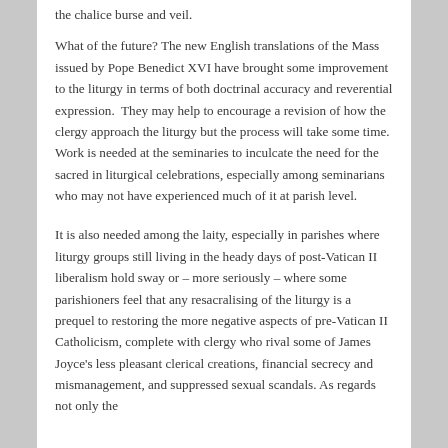the chalice burse and veil.
What of the future? The new English translations of the Mass issued by Pope Benedict XVI have brought some improvement to the liturgy in terms of both doctrinal accuracy and reverential expression.  They may help to encourage a revision of how the clergy approach the liturgy but the process will take some time. Work is needed at the seminaries to inculcate the need for the sacred in liturgical celebrations, especially among seminarians who may not have experienced much of it at parish level.
It is also needed among the laity, especially in parishes where liturgy groups still living in the heady days of post-Vatican II liberalism hold sway or – more seriously – where some parishioners feel that any resacralising of the liturgy is a prequel to restoring the more negative aspects of pre-Vatican II Catholicism, complete with clergy who rival some of James Joyce's less pleasant clerical creations, financial secrecy and mismanagement, and suppressed sexual scandals. As regards not only the